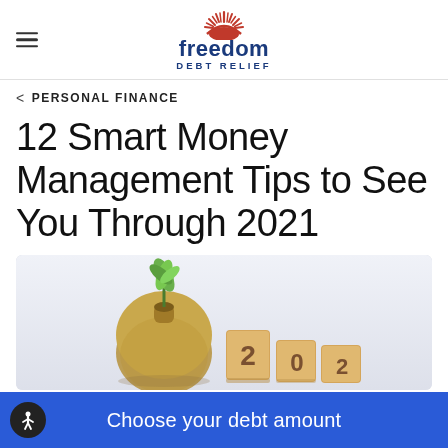freedom DEBT RELIEF
< PERSONAL FINANCE
12 Smart Money Management Tips to See You Through 2021
[Figure (photo): A money bag with a plant growing out of it next to wooden blocks spelling '2021', on a light background.]
Choose your debt amount